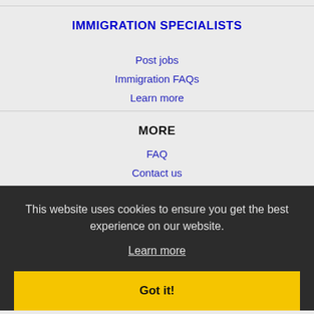IMMIGRATION SPECIALISTS
Post jobs
Immigration FAQs
Learn more
MORE
FAQ
Contact us
This website uses cookies to ensure you get the best experience on our website.
Learn more
Got it!
Privacy
NEARBY CITIES
Albany, OR Jobs
Aloha, OR Jobs